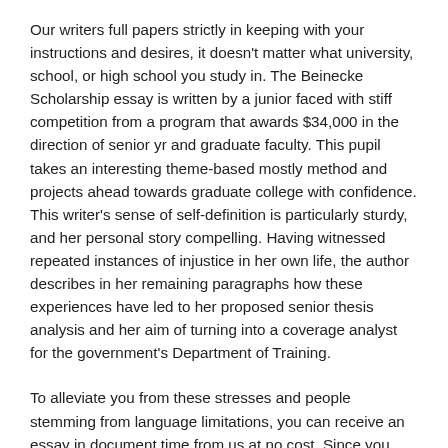Our writers full papers strictly in keeping with your instructions and desires, it doesn't matter what university, school, or high school you study in. The Beinecke Scholarship essay is written by a junior faced with stiff competition from a program that awards $34,000 in the direction of senior yr and graduate faculty. This pupil takes an interesting theme-based mostly method and projects ahead towards graduate college with confidence. This writer's sense of self-definition is particularly sturdy, and her personal story compelling. Having witnessed repeated instances of injustice in her own life, the author describes in her remaining paragraphs how these experiences have led to her proposed senior thesis analysis and her aim of turning into a coverage analyst for the government's Department of Training.
To alleviate you from these stresses and people stemming from language limitations, you can receive an essay in document time from us at no cost. Since you aren't required to